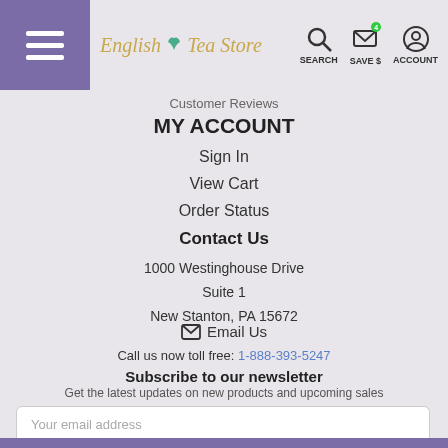English Tea Store — SEARCH | SAVE $ | ACCOUNT
Customer Reviews
MY ACCOUNT
Sign In
View Cart
Order Status
Contact Us
1000 Westinghouse Drive
Suite 1
New Stanton, PA 15672
✉ Email Us
Call us now toll free: 1-888-393-5247
Subscribe to our newsletter
Get the latest updates on new products and upcoming sales
Your email address